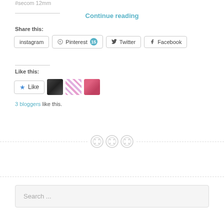#secom 12mm
Continue reading
Share this:
[Figure (other): Social share buttons: instagram, Pinterest (15), Twitter, Facebook]
Like this:
[Figure (other): Like button with star icon and 3 avatar thumbnails]
3 bloggers like this.
[Figure (other): Decorative dashed separator with three button/sewing button icons]
[Figure (other): Dashed separator line]
Search ...